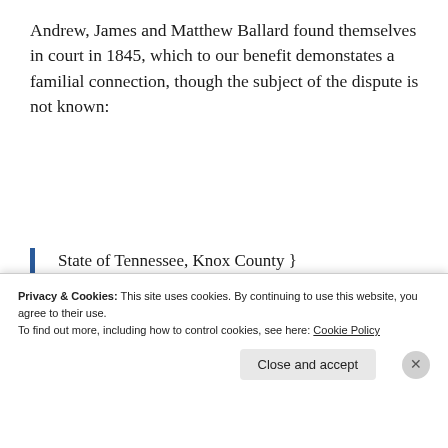Andrew, James and Matthew Ballard found themselves in court in 1845, which to our benefit demonstates a familial connection, though the subject of the dispute is not known:
State of Tennessee, Knox County }

Circuit Court June Term, Eighteen Hundred and Forty-four.
Privacy & Cookies: This site uses cookies. By continuing to use this website, you agree to their use.
To find out more, including how to control cookies, see here: Cookie Policy